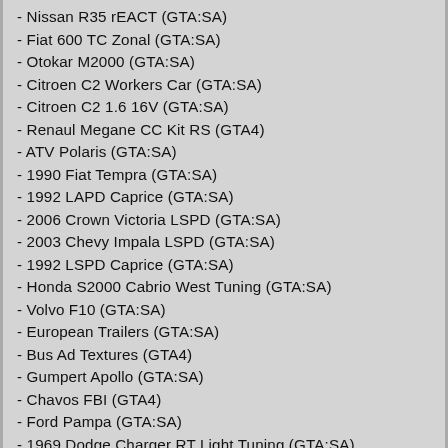- Nissan R35 rEACT (GTA:SA)
- Fiat 600 TC Zonal (GTA:SA)
- Otokar M2000 (GTA:SA)
- Citroen C2 Workers Car (GTA:SA)
- Citroen C2 1.6 16V (GTA:SA)
- Renaul Megane CC Kit RS (GTA4)
- ATV Polaris (GTA:SA)
- 1990 Fiat Tempra (GTA:SA)
- 1992 LAPD Caprice (GTA:SA)
- 2006 Crown Victoria LSPD (GTA:SA)
- 2003 Chevy Impala LSPD (GTA:SA)
- 1992 LSPD Caprice (GTA:SA)
- Honda S2000 Cabrio West Tuning (GTA:SA)
- Volvo F10 (GTA:SA)
- European Trailers (GTA:SA)
- Bus Ad Textures (GTA4)
- Gumpert Apollo (GTA:SA)
- Chavos FBI (GTA4)
- Ford Pampa (GTA:SA)
- 1969 Dodge Charger RT Light Tuning (GTA:SA)
- 1998 Toyota Supra (GTA:SA)
- Volvo C30 T5 R-Design 2009 (GTA:SA)
- Mercedes Benz CLS (GTA4)